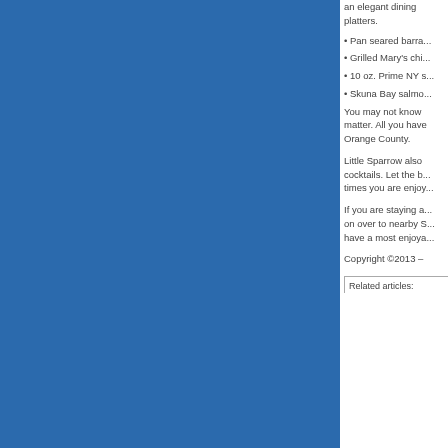[Figure (illustration): Large blue rectangular panel occupying the left portion of the page]
an elegant dining ... platters.
• Pan seared barra...
• Grilled Mary's chi...
• 10 oz. Prime NY s...
• Skuna Bay salmo...
You may not know ... matter. All you have ... Orange County.
Little Sparrow also ... cocktails. Let the b... times you are enjoy...
If you are staying a... on over to nearby S... have a most enjoya...
Copyright ©2013 –
Related articles: